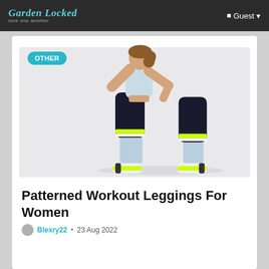Garden Locked — love one another | Guest
[Figure (photo): A woman wearing a light blue sports bra and black patterned workout leggings with neon yellow/white accent stripes, posing in a lunge position wearing neon green and white sneakers, against a light grey background. An 'OTHER' category badge is overlaid in the top-left corner.]
Patterned Workout Leggings For Women
Blexry22 · 23 Aug 2022